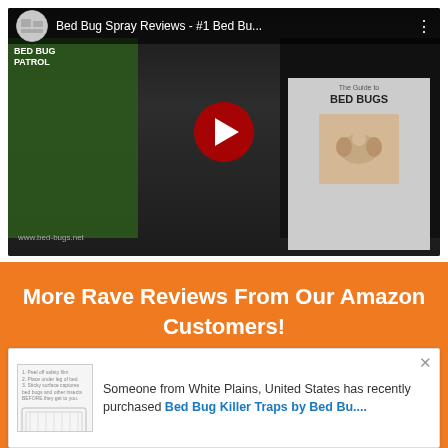[Figure (screenshot): YouTube video thumbnail showing 'Bed Bug Spray Reviews - #1 Bed Bu...' with a man in the center, play button, left green Bed Bug Patrol panel and right dark panel with Bed Bugs book cover]
More Rave Reviews From Our Amazon Customers!
Someone from White Plains, United States has recently purchased Bed Bug Killer Traps by Bed Bu....